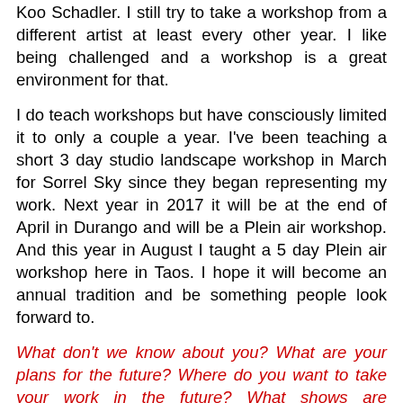Koo Schadler. I still try to take a workshop from a different artist at least every other year. I like being challenged and a workshop is a great environment for that.
I do teach workshops but have consciously limited it to only a couple a year. I've been teaching a short 3 day studio landscape workshop in March for Sorrel Sky since they began representing my work. Next year in 2017 it will be at the end of April in Durango and will be a Plein air workshop. And this year in August I taught a 5 day Plein air workshop here in Taos. I hope it will become an annual tradition and be something people look forward to.
What don't we know about you? What are your plans for the future? Where do you want to take your work in the future? What shows are upcoming for you? Any solo shows?
One thing many people don't know about me is that I used to teach rock and ice climbing when I lived in New Hampshire. When my son left for college I took up rock climbing and then mountaineering and ice climbing. We had a wonderful climbing community on the east coast and during that time I was able to climb in Switzerland, France, Italy, Spain, and all over the US. It is an exhilarating sport bordering on an art form I think. When we moved to Taos the time I spent climbing gradually declined, but I still maintain my American